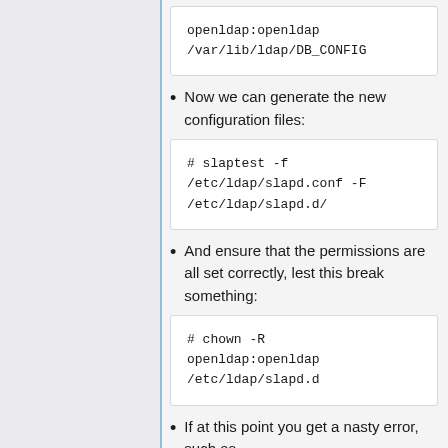openldap:openldap
/var/lib/ldap/DB_CONFIG
Now we can generate the new configuration files:
# slaptest -f /etc/ldap/slapd.conf -F /etc/ldap/slapd.d/
And ensure that the permissions are all set correctly, lest this break something:
# chown -R openldap:openldap /etc/ldap/slapd.d
If at this point you get a nasty error, such as